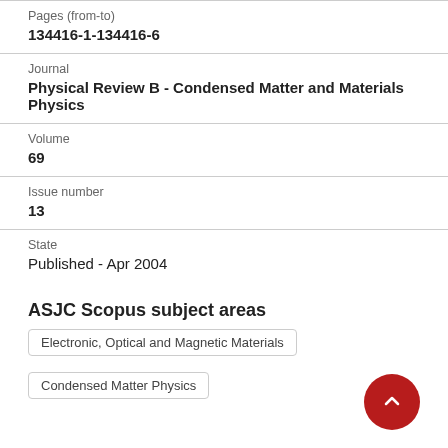Pages (from-to)
134416-1-134416-6
Journal
Physical Review B - Condensed Matter and Materials Physics
Volume
69
Issue number
13
State
Published - Apr 2004
ASJC Scopus subject areas
Electronic, Optical and Magnetic Materials
Condensed Matter Physics